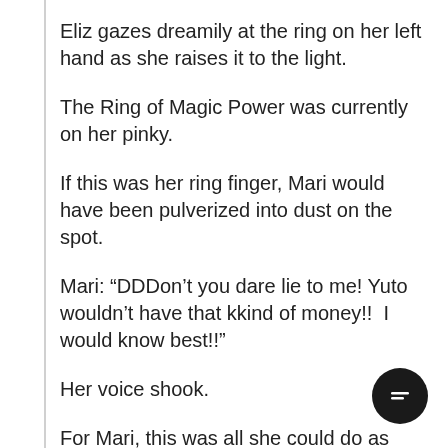Eliz gazes dreamily at the ring on her left hand as she raises it to the light.
The Ring of Magic Power was currently on her pinky.
If this was her ring finger, Mari would have been pulverized into dust on the spot.
Mari: “DDDon’t you dare lie to me! Yuto wouldn’t have that kkind of money!!  I would know best!!”
Her voice shook.
For Mari, this was all she could do as she frantically gathered up every ounce of courage against the odd